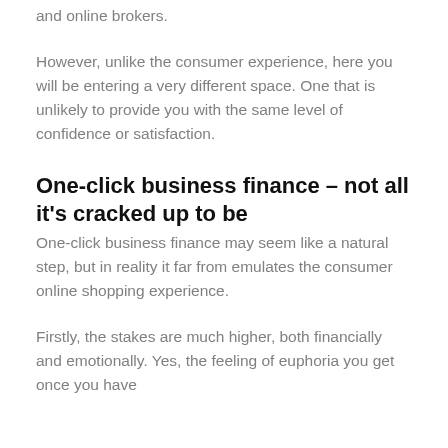and online brokers.
However, unlike the consumer experience, here you will be entering a very different space. One that is unlikely to provide you with the same level of confidence or satisfaction.
One-click business finance – not all it's cracked up to be
One-click business finance may seem like a natural step, but in reality it far from emulates the consumer online shopping experience.
Firstly, the stakes are much higher, both financially and emotionally. Yes, the feeling of euphoria you get once you have